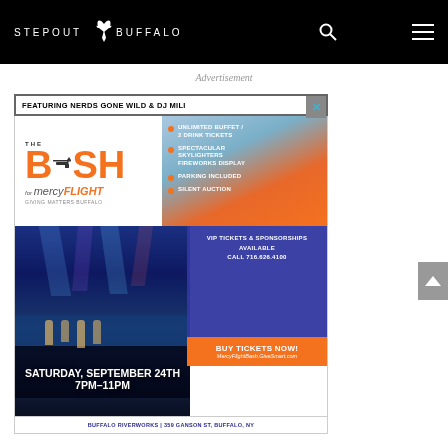STEPOUT BUFFALO
Advertisement
[Figure (infographic): The Bash for Mercy Flight advertisement. Features: FEATURING NERDS GONE WILD & DJ MILI banner, The BASH for mercyFLIGHT logo, bullet points: UNLIMITED BUFFET / 2 DRINK TICKETS, SPECTACULAR SKYLIGHTERS FIREWORKS DISPLAY, PARKING INCLUDED, SILENT AUCTION, VIP TICKETS & SPONSORSHIPS AVAILABLE CALL 716.626.4100, BUY TICKETS NOW! MercyFlightBash.GiveSmart.com, SATURDAY, SEPTEMBER 24TH 7PM-11PM, BUFFALO RIVERWORKS | 359 GANSON ST, BUFFALO, NY]